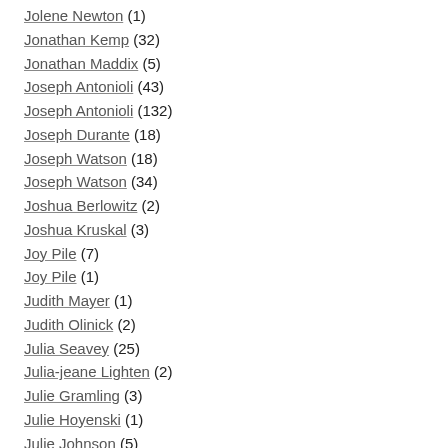Jolene Newton (1)
Jonathan Kemp (32)
Jonathan Maddix (5)
Joseph Antonioli (43)
Joseph Antonioli (132)
Joseph Durante (18)
Joseph Watson (18)
Joseph Watson (34)
Joshua Berlowitz (2)
Joshua Kruskal (3)
Joy Pile (7)
Joy Pile (1)
Judith Mayer (1)
Judith Olinick (2)
Julia Seavey (25)
Julia-jeane Lighten (2)
Julie Gramling (3)
Julie Hoyenski (1)
Julie Johnson (5)